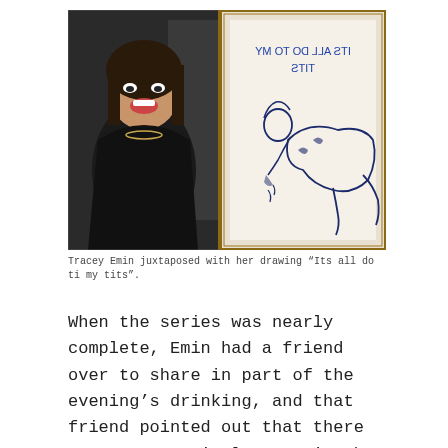[Figure (photo): Two-panel image: left panel shows a laughing woman in a black outfit at an event; right panel shows a pencil/pen drawing of a reclining figure with text written backwards reading 'ITS ALL DO TO MY TITS']
Tracey Emin juxtaposed with her drawing “Its all do ti my tits”.
When the series was nearly complete, Emin had a friend over to share in part of the evening’s drinking, and that friend pointed out that there was a grammatical error in the painting above. Tracey laughed it off at first pointing out herself that the “s” is backwards in “its” obviously because she was